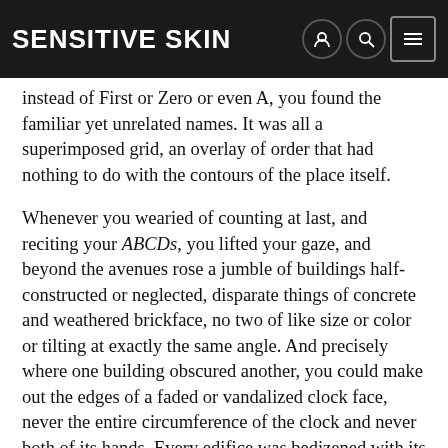Sensitive Skin
instead of First or Zero or even A, you found the familiar yet unrelated names. It was all a superimposed grid, an overlay of order that had nothing to do with the contours of the place itself.
Whenever you wearied of counting at last, and reciting your ABCDs, you lifted your gaze, and beyond the avenues rose a jumble of buildings half-constructed or neglected, disparate things of concrete and weathered brickface, no two of like size or color or tilting at exactly the same angle. And precisely where one building obscured another, you could make out the edges of a faded or vandalized clock face, never the entire circumference of the clock and never both of its hands. Every edifice was bedizened with its own abraded Big Ben, inset or screwed, or etched or painted, on one of its façades. Walking home on a searing day, you couldn't be